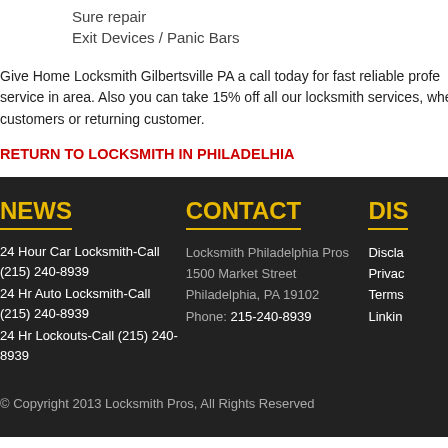Sure repair
Exit Devices / Panic Bars
Give Home Locksmith Gilbertsville PA a call today for fast reliable profe service in area. Also you can take 15% off all our locksmith services, whe customers or returning customer.
RETURN TO LOCKSMITH IN PHILADELHIA
NEWS
CONTACT
DIS
24 Hour Car Locksmith-Call (215) 240-8939
24 Hr Auto Locksmith-Call (215) 240-8939
24 Hr Lockouts-Call (215) 240-8939
Locksmith Philadelphia Pros
1500 Market Street
Philadelphia, PA 19102
Phone: 215-240-8939
Discla
Privac
Terms
Linkin
© Copyright 2013 Locksmith Pros, All Rights Reserved